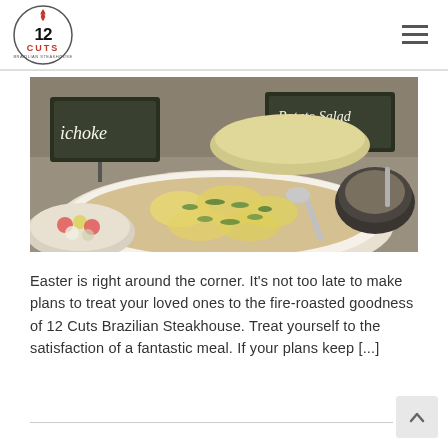12 Cuts Brazilian Steakhouse
[Figure (photo): Food buffet spread with a large white oval dish filled with a cheesy baked casserole garnished with herbs, with chalkboard signs reading 'ichoke' and 'Potato Salad', a bowl of fruit salad, and a dark bowl with sauce in the background.]
Easter is right around the corner. It’s not too late to make plans to treat your loved ones to the fire-roasted goodness of 12 Cuts Brazilian Steakhouse. Treat yourself to the satisfaction of a fantastic meal. If your plans keep [...]